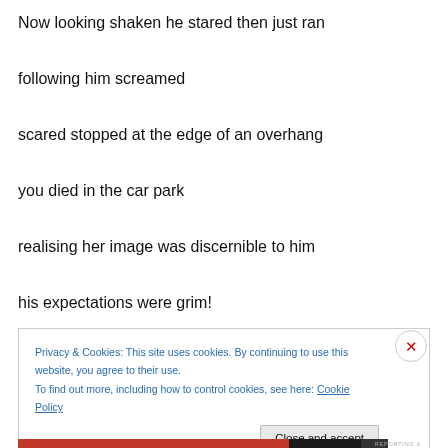Now looking shaken he stared then just ran
following him screamed
scared stopped at the edge of an overhang
you died in the car park
realising her image was discernible to him
his expectations were grim!
Privacy & Cookies: This site uses cookies. By continuing to use this website, you agree to their use. To find out more, including how to control cookies, see here: Cookie Policy